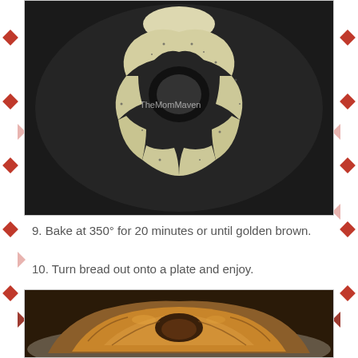[Figure (photo): Unbaked bread dough arranged in a Bundt/ring pan, seen from above. Dough pieces are dusted with herbs and parmesan. A watermark reads TheMomMaven.]
9. Bake at 350° for 20 minutes or until golden brown.
10. Turn bread out onto a plate and enjoy.
[Figure (photo): Baked golden-brown pull-apart bread ring on a plate, viewed from the side showing the finished golden loaf.]